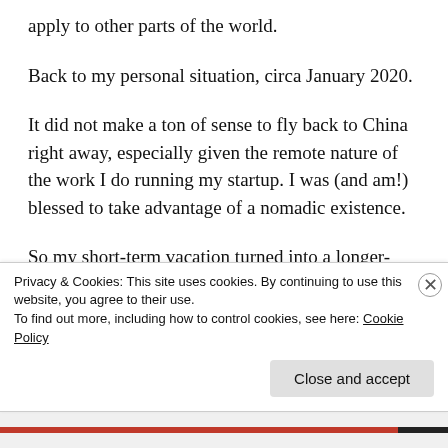apply to other parts of the world.
Back to my personal situation, circa January 2020.
It did not make a ton of sense to fly back to China right away, especially given the remote nature of the work I do running my startup. I was (and am!) blessed to take advantage of a nomadic existence.
So my short-term vacation turned into a longer-term stay. My mom was certainly happy that I'd basically
Privacy & Cookies: This site uses cookies. By continuing to use this website, you agree to their use.
To find out more, including how to control cookies, see here: Cookie Policy

Close and accept